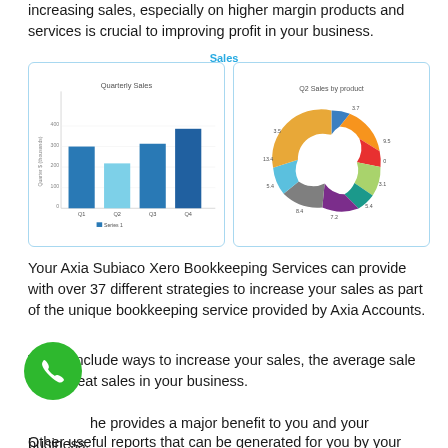increasing sales, especially on higher margin products and services is crucial to improving profit in your business.
Sales
[Figure (bar-chart): Quarterly Sales]
[Figure (donut-chart): Q2 Sales by product]
Your Axia Subiaco Xero Bookkeeping Services can provide with over 37 different strategies to increase your sales as part of the unique bookkeeping service provided by Axia Accounts.
These include ways to increase your sales, the average sale and repeat sales in your business.
The provides a major benefit to you and your business.
Other useful reports that can be generated for you by your Axia bookkeeper include aged receivables, GST, expenses, profit and loss...